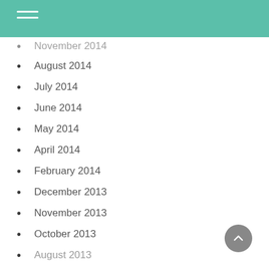November 2014
August 2014
July 2014
June 2014
May 2014
April 2014
February 2014
December 2013
November 2013
October 2013
August 2013
July 2013
June 2013
May 2013
March 2013
February 2013
January 2013
December 2012